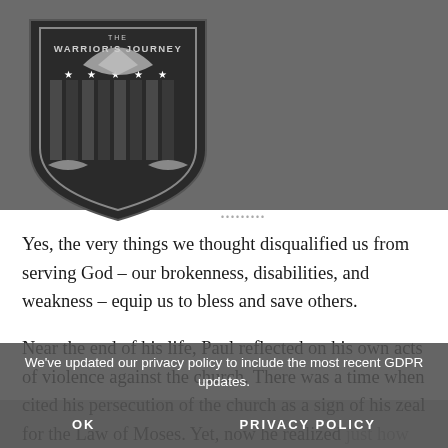[Figure (logo): The Warrior's Journey shield logo with eagle and stripes]
Churches, Media, Events, More   ARTICLES   MENU
Yes, the very things we thought disqualified us from serving God – our brokenness, disabilities, and weakness – equip us to bless and save others.
Near the end of his life, Paul reflected on his own acts of violence against the church. There was a time when cited his persecution of the church as a sign of his zeal for the Law of Moses. Yet, now he realized just how much of a creep he had been and grieved over his cruelty. In the end Paul realized that God wou...
We've updated our privacy policy to include the most recent GDPR updates.
OK   PRIVACY POLICY